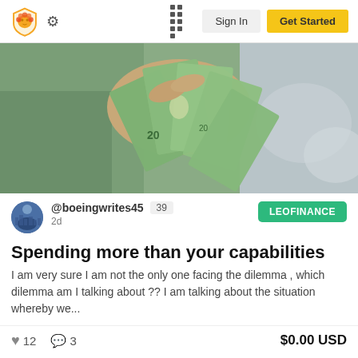LeoFinance — Sign In | Get Started
[Figure (photo): Close-up of hands holding fanned-out US dollar bills ($20 bills), with military camouflage clothing visible and blurred background]
@boeingwrites45  39  2d  LEOFINANCE
Spending more than your capabilities
I am very sure I am not the only one facing the dilemma , which dilemma am I talking about ?? I am talking about the situation whereby we...
♥ 12  💬 3  $0.00 USD